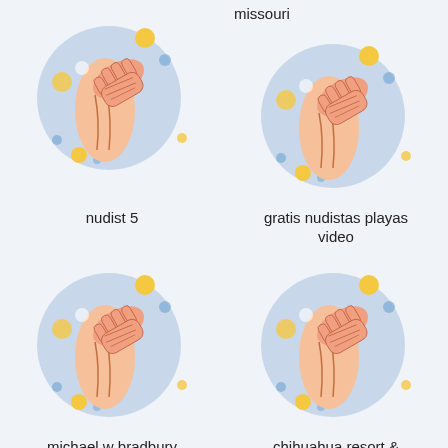[Figure (illustration): Circular icon showing a hand touching/massaging a body, with decorative colored dots, top-left]
[Figure (illustration): Circular icon showing a hand touching/massaging a body, with decorative colored dots, top-right]
nudist 5
gratis nudistas playas video
[Figure (illustration): Circular icon showing a hand touching/massaging a body, with decorative colored dots, bottom-left]
[Figure (illustration): Circular icon showing a hand touching/massaging a body, with decorative colored dots, bottom-right]
michael w bradbury
chihuahua resort &